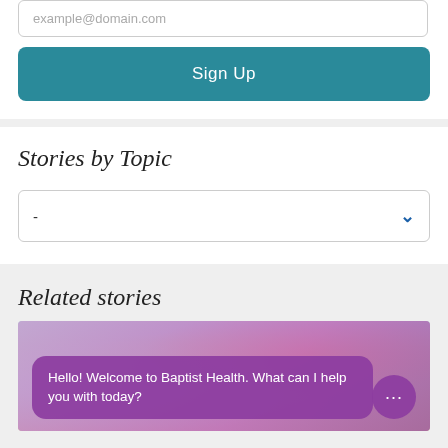[Figure (screenshot): Email input field with placeholder text example@domain.com]
Sign Up
Stories by Topic
[Figure (screenshot): Dropdown selector with dash placeholder and blue chevron]
Related stories
[Figure (photo): Children in classroom photo with purple chat overlay bubble saying: Hello! Welcome to Baptist Health. What can I help you with today? and a chat icon circle]
Hello! Welcome to Baptist Health. What can I help you with today?